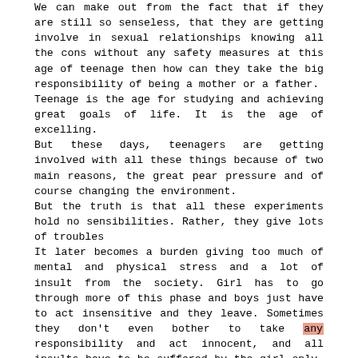We can make out from the fact that if they are still so senseless, that they are getting involve in sexual relationships knowing all the cons without any safety measures at this age of teenage then how can they take the big responsibility of being a mother or a father. Teenage is the age for studying and achieving great goals of life. It is the age of excelling. But these days, teenagers are getting involved with all these things because of two main reasons, the great pear pressure and of course changing the environment. But the truth is that all these experiments hold no sensibilities. Rather, they give lots of troubles It later becomes a burden giving too much of mental and physical stress and a lot of insult from the society. Girl has to go through more of this phase and boys just have to act insensitive and they leave. Sometimes they don't even bother to take any responsibility and act innocent, and all insults have to be suffered by the girl only, which becomes too annoying and disheartening for the family especially.